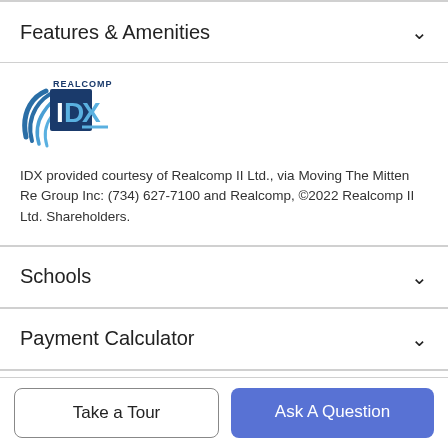Features & Amenities
[Figure (logo): Realcomp IDX logo with stylized blue wave and text REALCOMP IDX]
IDX provided courtesy of Realcomp II Ltd., via Moving The Mitten Re Group Inc: (734) 627-7100 and Realcomp, ©2022 Realcomp II Ltd. Shareholders.
Schools
Payment Calculator
Contact Agent
Take a Tour
Ask A Question